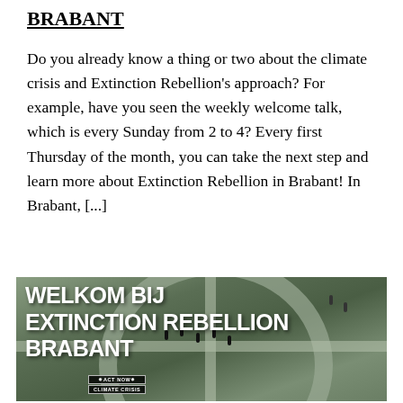BRABANT
Do you already know a thing or two about the climate crisis and Extinction Rebellion's approach? For example, have you seen the weekly welcome talk, which is every Sunday from 2 to 4? Every first Thursday of the month, you can take the next step and learn more about Extinction Rebellion in Brabant! In Brabant, [...]
CONTINUE READING
[Figure (photo): Aerial photograph of a roundabout with people holding banners reading 'ACT NOW' and 'CLIMATE CRISIS'. Bold white text overlay reads 'WELKOM BIJ EXTINCTION REBELLION BRABANT'.]